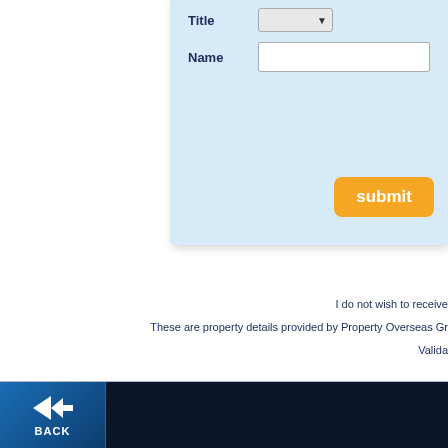[Figure (screenshot): A web form panel with a light blue background showing Title dropdown and Name text input fields, and an orange submit button.]
I do not wish to receive
These are property details provided by Property Overseas Gr
Valida
[Figure (screenshot): Navigation footer bar with a blue BACK button featuring a left arrow icon, and a dark navy background section.]